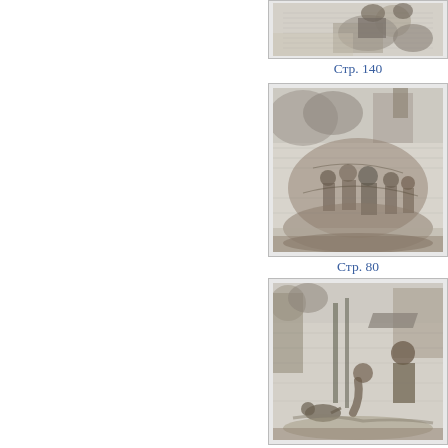[Figure (illustration): Black and white engraving of a scene with figures, partially cropped at top]
Стр. 140
[Figure (illustration): Black and white engraving of a lively outdoor scene with multiple figures in motion, possibly a crowd or street scene]
Стр. 80
[Figure (illustration): Black and white engraving of an outdoor market or street scene with figures and buildings]
Стр. 32